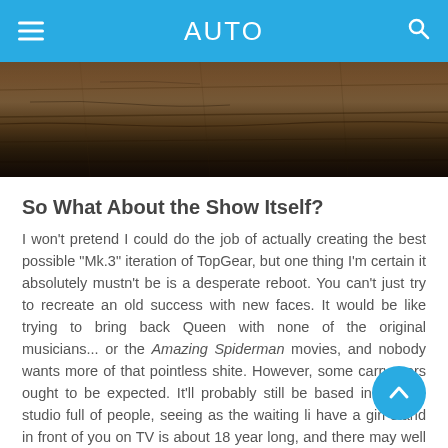AUTO
[Figure (photo): Dark wood floor texture photograph used as a header/banner image]
So What About the Show Itself?
I won't pretend I could do the job of actually creating the best possible "Mk.3" iteration of TopGear, but one thing I'm certain it absolutely mustn't be is a desperate reboot. You can't just try to recreate an old success with new faces. It would be like trying to bring back Queen with none of the original musicians... or the Amazing Spiderman movies, and nobody wants more of that pointless shite. However, some carryovers ought to be expected. It'll probably still be based in a huge studio full of people, seeing as the waiting list to have a girl stand in front of you on TV is about 18 years long, and there may well still be a celebrity shoehorned into